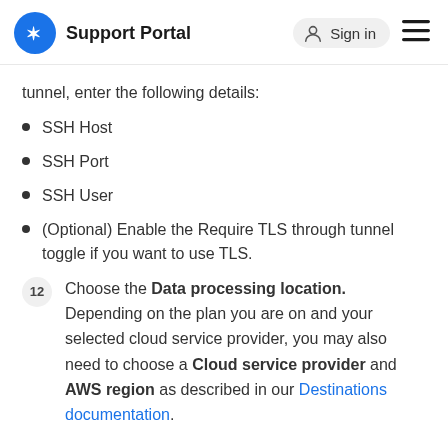Support Portal  Sign in
tunnel, enter the following details:
SSH Host
SSH Port
SSH User
(Optional) Enable the Require TLS through tunnel toggle if you want to use TLS.
12  Choose the Data processing location. Depending on the plan you are on and your selected cloud service provider, you may also need to choose a Cloud service provider and AWS region as described in our Destinations documentation.